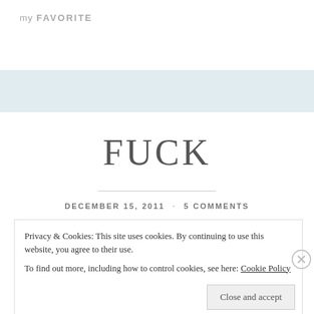my FAVORITE
FUCK
DECEMBER 15, 2011 · 5 COMMENTS
Privacy & Cookies: This site uses cookies. By continuing to use this website, you agree to their use.
To find out more, including how to control cookies, see here: Cookie Policy
Close and accept